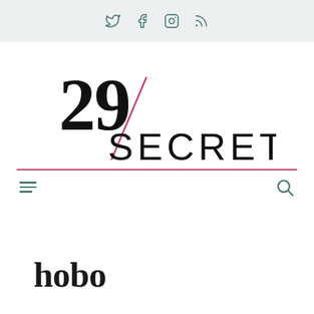[Social icons: Twitter, Facebook, Instagram, RSS]
[Figure (logo): 29Secrets logo with large stylized '29' and diagonal pink/red slash, and 'SECRETS' in wide spaced caps below]
hobo